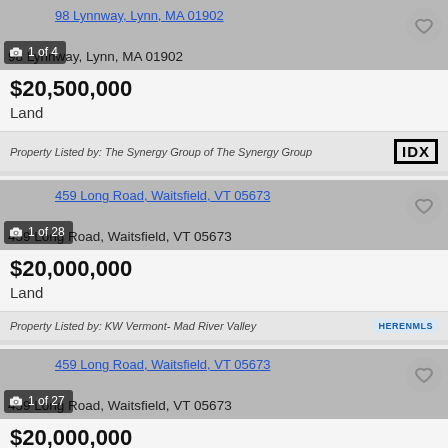98 Lynnway, Lynn, MA 01902
98 Lynnway, Lynn, MA 01902
$20,500,000
Land
Property Listed by: The Synergy Group of The Synergy Group
459 Long Road, Waitsfield, VT 05673
459 Long Road, Waitsfield, VT 05673
$20,000,000
Land
Property Listed by: KW Vermont- Mad River Valley
459 Long Road, Waitsfield, VT 05673
459 Long Road, Waitsfield, VT 05673
$20,000,000